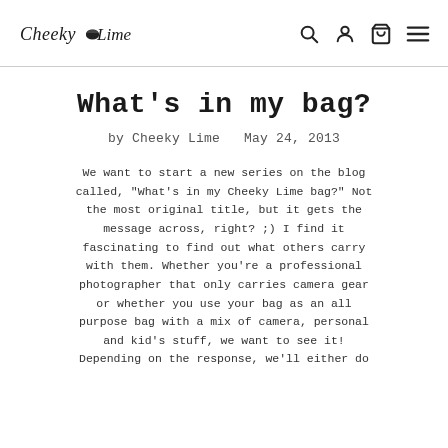Cheeky Lime [logo] — navigation icons: search, account, cart, menu
What's in my bag?
by Cheeky Lime  May 24, 2013
We want to start a new series on the blog called, "What's in my Cheeky Lime bag?" Not the most original title, but it gets the message across, right? ;) I find it fascinating to find out what others carry with them. Whether you're a professional photographer that only carries camera gear or whether you use your bag as an all purpose bag with a mix of camera, personal and kid's stuff, we want to see it! Depending on the response, we'll either do